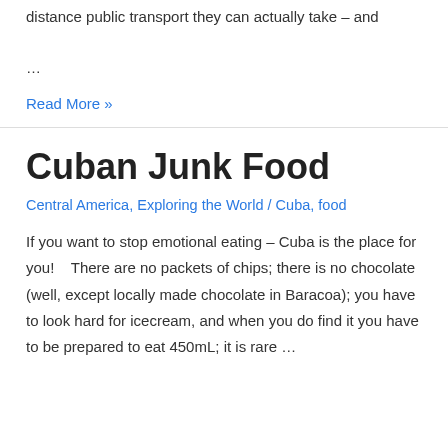distance public transport they can actually take – and …
Read More »
Cuban Junk Food
Central America, Exploring the World / Cuba, food
If you want to stop emotional eating – Cuba is the place for you!   There are no packets of chips; there is no chocolate (well, except locally made chocolate in Baracoa); you have to look hard for icecream, and when you do find it you have to be prepared to eat 450mL; it is rare …